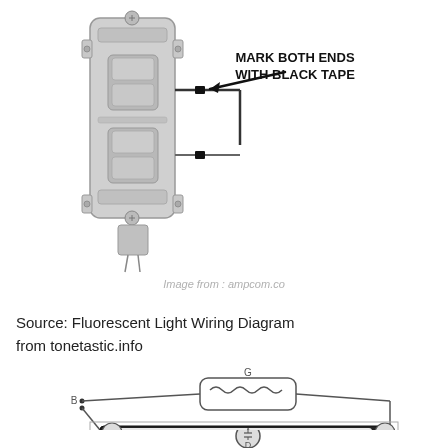[Figure (schematic): Electrical wiring schematic showing a light switch with wires marked with black tape at both ends, with annotation arrow and label 'MARK BOTH ENDS WITH BLACK TAPE'. Watermark text 'Image from : ampcom.co' visible at bottom of diagram.]
Source: Fluorescent Light Wiring Diagram
from tonetastic.info
[Figure (schematic): Fluorescent light wiring diagram showing components labeled G (ballast/transformer at top), B (input connection on left), A (fluorescent tube in center), F (lamp holders on both ends of tube), and D (starter at bottom center).]